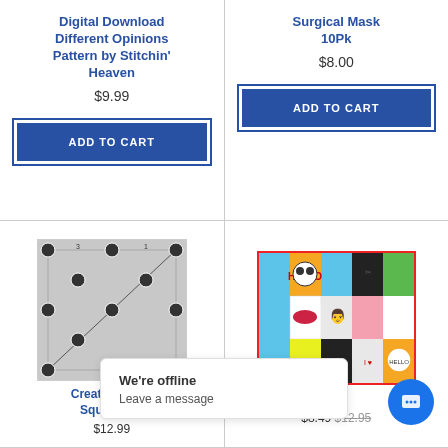Digital Download Different Opinions Pattern by Stitchin' Heaven
$9.99
ADD TO CART
Surgical Mask 10Pk
$8.00
ADD TO CART
[Figure (photo): Creative Grids square ruler product image]
[Figure (photo): Colorful fabric panel product image]
Creative Grids Square Rul
$12.99
ac
$8.49 $12.95
We're offline
Leave a message